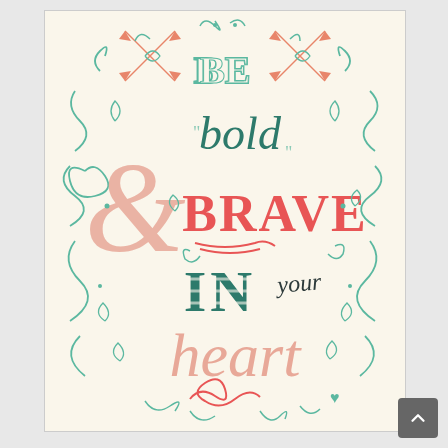[Figure (illustration): Decorative hand-lettered typography artwork on a cream background reading 'Be bold & BRAVE IN your heart' with ornamental swirls, arrows, and flourishes in teal, coral/pink, and dark teal colors.]